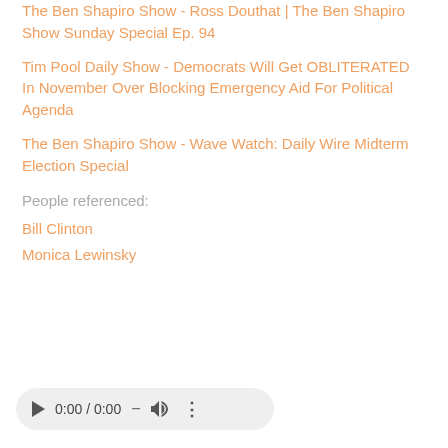The Ben Shapiro Show - Ross Douthat | The Ben Shapiro Show Sunday Special Ep. 94
Tim Pool Daily Show - Democrats Will Get OBLITERATED In November Over Blocking Emergency Aid For Political Agenda
The Ben Shapiro Show - Wave Watch: Daily Wire Midterm Election Special
People referenced:
Bill Clinton
Monica Lewinsky